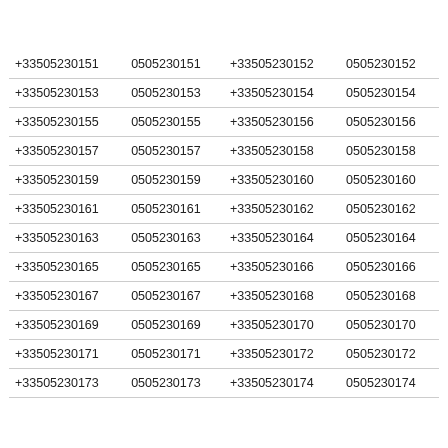| +33505230151 | 0505230151 | +33505230152 | 0505230152 |
| +33505230153 | 0505230153 | +33505230154 | 0505230154 |
| +33505230155 | 0505230155 | +33505230156 | 0505230156 |
| +33505230157 | 0505230157 | +33505230158 | 0505230158 |
| +33505230159 | 0505230159 | +33505230160 | 0505230160 |
| +33505230161 | 0505230161 | +33505230162 | 0505230162 |
| +33505230163 | 0505230163 | +33505230164 | 0505230164 |
| +33505230165 | 0505230165 | +33505230166 | 0505230166 |
| +33505230167 | 0505230167 | +33505230168 | 0505230168 |
| +33505230169 | 0505230169 | +33505230170 | 0505230170 |
| +33505230171 | 0505230171 | +33505230172 | 0505230172 |
| +33505230173 | 0505230173 | +33505230174 | 0505230174 |